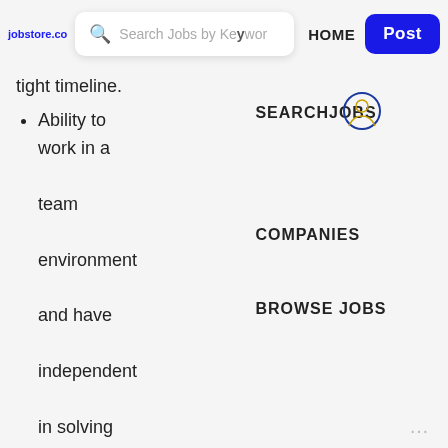jobstore.com | Search Jobs by Keyword | HOME | Post
tight timeline.
Ability to work in a team environment and have independent in solving problems.
Perks & Benefits
Nearby public transport
SEARCHJOBS
COMPANIES
BROWSE JOBS